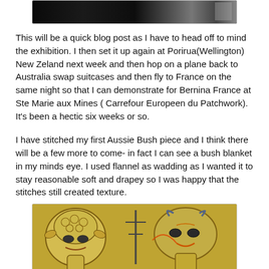[Figure (photo): Top portion of a photo showing a dark exhibition display, partially visible]
This will be a quick blog post as I have to head off to mind the exhibition. I then set it up again at Porirua(Wellington) New Zeland next week and then hop on a plane back to Australia swap suitcases and then fly to France on the same night so that I can demonstrate for Bernina France at Ste Marie aux Mines ( Carrefour Europeen du Patchwork). It's been a hectic six weeks or so.
I have stitched my first Aussie Bush piece and I think there will be a few more to come- in fact I can see a bush blanket in my minds eye. I used flannel as wadding as I wanted it to stay reasonable soft and drapey so I was happy that the stitches still created texture.
[Figure (photo): Aussie Bush textile/quilt artwork showing stylized animal faces (possibly sheep or bush animals) stitched in an indigenous art style on a golden-yellow fabric background]